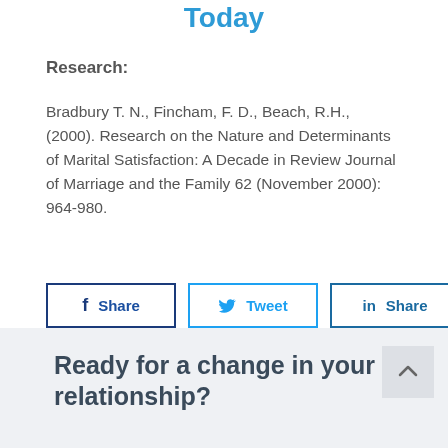Today
Research:
Bradbury T. N., Fincham, F. D., Beach, R.H., (2000). Research on the Nature and Determinants of Marital Satisfaction: A Decade in Review Journal of Marriage and the Family 62 (November 2000): 964-980.
[Figure (infographic): Social sharing buttons: Facebook Share (dark blue border), Twitter Tweet (light blue border), LinkedIn Share (blue border), Pinterest Pin (red border)]
Ready for a change in your relationship?